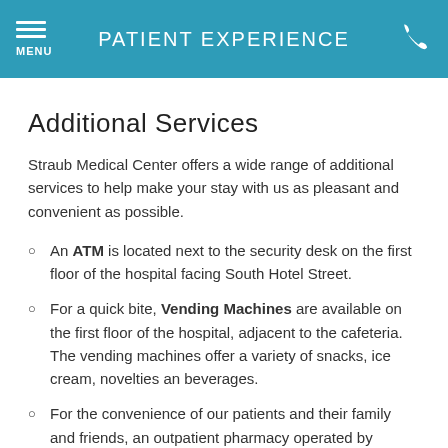PATIENT EXPERIENCE
Additional Services
Straub Medical Center offers a wide range of additional services to help make your stay with us as pleasant and convenient as possible.
An ATM is located next to the security desk on the first floor of the hospital facing South Hotel Street.
For a quick bite, Vending Machines are available on the first floor of the hospital, adjacent to the cafeteria. The vending machines offer a variety of snacks, ice cream, novelties an beverages.
For the convenience of our patients and their family and friends, an outpatient pharmacy operated by Pharmacare is